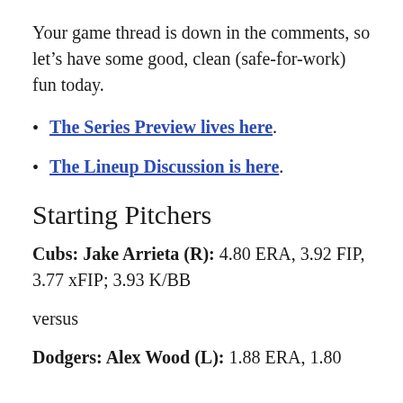Your game thread is down in the comments, so let’s have some good, clean (safe-for-work) fun today.
The Series Preview lives here.
The Lineup Discussion is here.
Starting Pitchers
Cubs: Jake Arrieta (R): 4.80 ERA, 3.92 FIP, 3.77 xFIP; 3.93 K/BB
versus
Dodgers: Alex Wood (L): 1.88 ERA, 1.80...